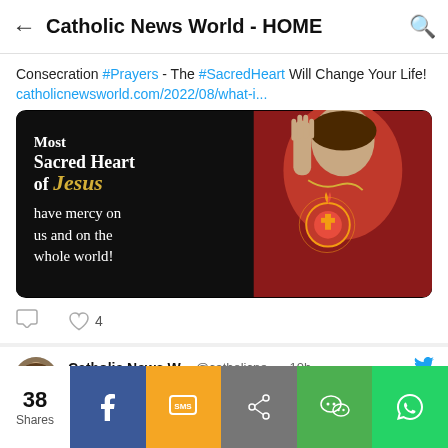Catholic News World - HOME
Consecration #Prayers - The #SacredHeart Will Change Your Life! catholicnewsworld.com/2022/08/what-i...
[Figure (photo): Religious image of Jesus with Sacred Heart, text overlay reading: Most Sacred Heart of Jesus have mercy on us and on the whole world!]
♡ 4
Catholic News W... @catholicne... · 10h #PopeFrancis Gave 100,000 Euros to 400
38 Shares